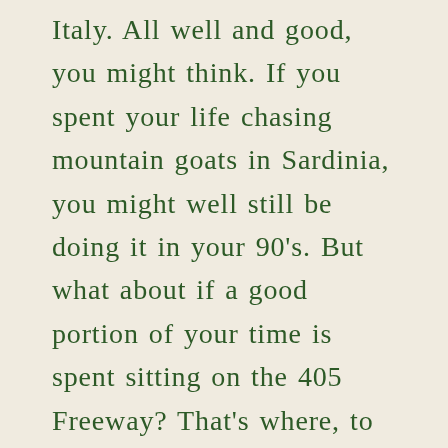Italy. All well and good, you might think. If you spent your life chasing mountain goats in Sardinia, you might well still be doing it in your 90's. But what about if a good portion of your time is spent sitting on the 405 Freeway? That's where, to me, things got really interesting – because one of his Blue Zones is Loma Linda, California. Yes, that Loma Linda, one of the smog capitals of Southern